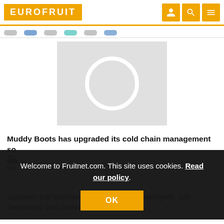EUROFRUIT
[Figure (illustration): Placeholder image with a grey background and a white circle outline, representing an unloaded article image]
Muddy Boots has upgraded its cold chain management so wa
Th so approach that transforms products into an intelligent, self-diagnosing data source.
Welcome to Fruitnet.com. This site uses cookies. Read our policy.